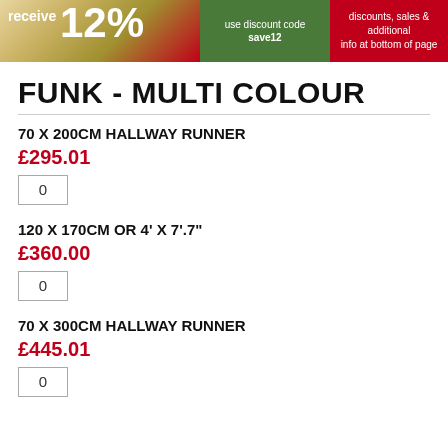[Figure (illustration): Promotional banner with red background showing 'receive 12%' offer, green section with 'use discount code save12', and red section with 'discounts, sales & additional info at bottom of page']
FUNK - MULTI COLOUR
70 X 200CM HALLWAY RUNNER
£295.01
0
120 X 170CM OR 4' X 7'.7"
£360.00
0
70 X 300CM HALLWAY RUNNER
£445.01
0